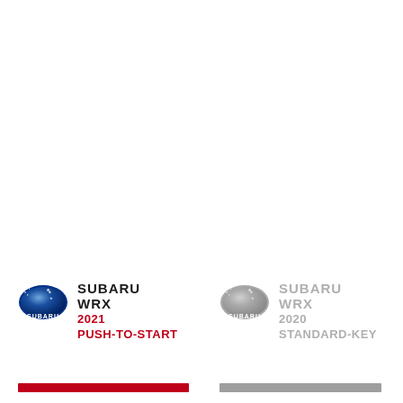[Figure (logo): Subaru logo (blue oval with stars) for the 2021 Push-to-Start WRX, left panel]
SUBARU WRX 2021 PUSH-TO-START
[Figure (logo): Subaru logo (blue oval with stars) for the 2020 Standard-Key WRX, right panel]
SUBARU WRX 2020 STANDARD-KEY